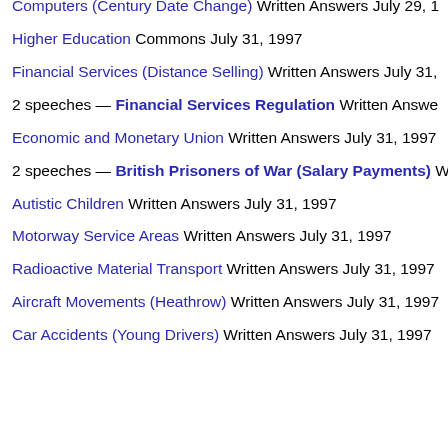Computers (Century Date Change) Written Answers July 29, 1...
Higher Education Commons July 31, 1997
Financial Services (Distance Selling) Written Answers July 31,...
2 speeches — Financial Services Regulation Written Answe...
Economic and Monetary Union Written Answers July 31, 1997
2 speeches — British Prisoners of War (Salary Payments) W...
Autistic Children Written Answers July 31, 1997
Motorway Service Areas Written Answers July 31, 1997
Radioactive Material Transport Written Answers July 31, 1997
Aircraft Movements (Heathrow) Written Answers July 31, 1997
Car Accidents (Young Drivers) Written Answers July 31, 1997